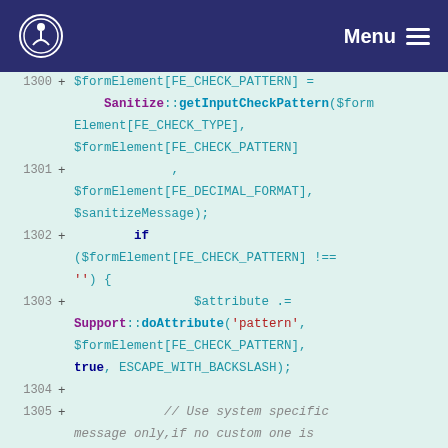Menu
1300 + $formElement[FE_CHECK_PATTERN] = Sanitize::getInputCheckPattern($formElement[FE_CHECK_TYPE], $formElement[FE_CHECK_PATTERN]
1301 + , $formElement[FE_DECIMAL_FORMAT], $sanitizeMessage);
1302 + if ($formElement[FE_CHECK_PATTERN] !== '') {
1303 + $attribute .= Support::doAttribute('pattern', $formElement[FE_CHECK_PATTERN], true, ESCAPE_WITH_BACKSLASH);
1304 +
1305 + // Use system specific message only,if no custom one is set.
1306 + if
($formElement[FE_FE_DATA_PATTERN_ERRO...